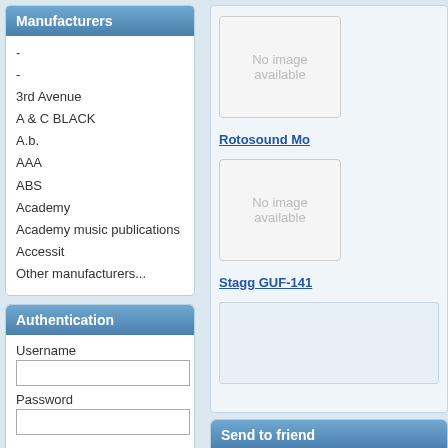Manufacturers
-
-
3rd Avenue
A & C BLACK
A.b.
AAA
ABS
Academy
Academy music publications
Accessit
Other manufacturers...
Authentication
Username
Password
Log in   Register
Recover password
Help
[Figure (other): No image available placeholder box]
Rotosound Mo
[Figure (other): No image available placeholder box]
Stagg GUF-141
Send to friend
Your name:
Your e-mail: